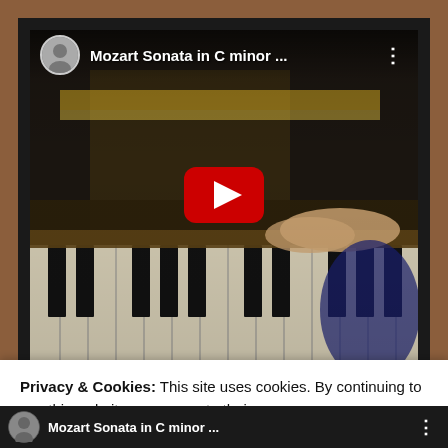[Figure (screenshot): YouTube video thumbnail/player showing 'Mozart Sonata in C minor ...' with a piano being played. The video shows hands on piano keys with a red YouTube play button overlay. A channel avatar and video title appear in the top bar.]
Privacy & Cookies: This site uses cookies. By continuing to use this website, you agree to their use.
To find out more, including how to control cookies, see here:
Cookie Policy
Close and accept
[Figure (screenshot): Bottom strip showing another YouTube video entry for 'Mozart Sonata in C minor ...' with avatar and more options button.]